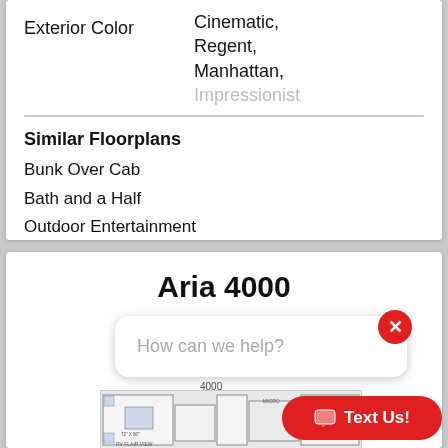Exterior Color
Cinematic, Regent, Manhattan, Impressionist
Similar Floorplans
Bunk Over Cab
Bath and a Half
Outdoor Entertainment
Aria 4000
How can we help?
4000
[Figure (other): Partial floorplan diagram for Aria 4000 showing room layout]
Text Us!